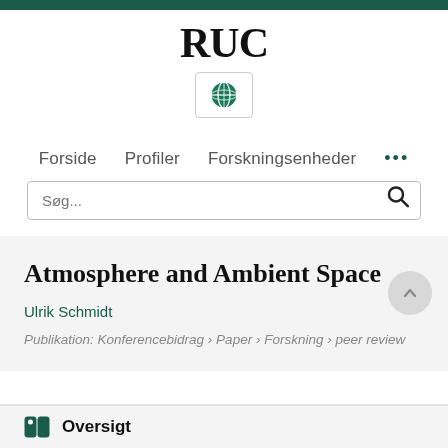[Figure (logo): RUC university logo in bold serif text]
[Figure (other): Globe icon inside a bordered box, representing language/region selector]
Forside   Profiler   Forskningsenheder   •••
Søg...
Atmosphere and Ambient Space
Ulrik Schmidt
Publikation: Konferencebidrag › Paper › Forskning › peer review
Oversigt